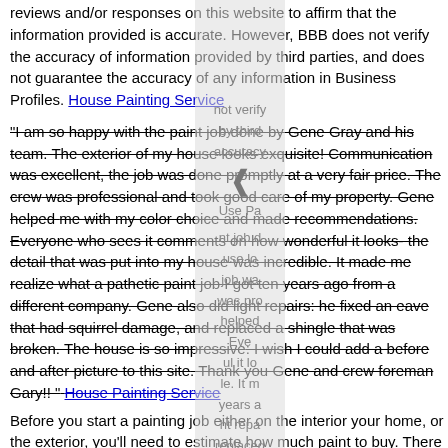reviews and/or responses on this website to affirm that the information provided is accurate. However, BBB does not verify the accuracy of information provided by third parties, and does not guarantee the accuracy of any information in Business Profiles. House Painting Service
"I am so happy with the paint job done by Gene Gray and his team. The exterior of my house looks exquisite! Communication was excellent, the job was done promptly at a very fair price. The crew was professional and took good care of my property. Gene helped me with my color choice and made recommendations. Everyone who sees it comments on how wonderful it looks- the detail that was put into my house was incredible. It made me realize what a pathetic paint job I got ten years ago from a different company. Gene also did light repairs: he fixed an eave that had squirrel damage, and replaced a shingle that was broken. The house is so impressive: I wish I could add a before and after picture to this site. Thank you Gene and crew foreman Gary!! " House Painting Service
Before you start a painting job either on the interior your home, or the exterior, you'll need to estimate how much paint to buy. There are various factors to take into consideration when deciding how many gallons of